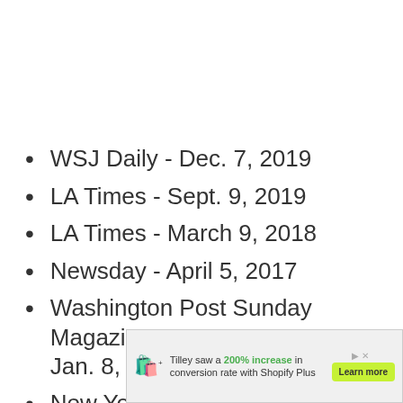WSJ Daily - Dec. 7, 2019
LA Times - Sept. 9, 2019
LA Times - March 9, 2018
Newsday - April 5, 2017
Washington Post Sunday Magazine - Jan. 8, 2017
New York Times - Feb. 28, 2015
(partially visible) ...me